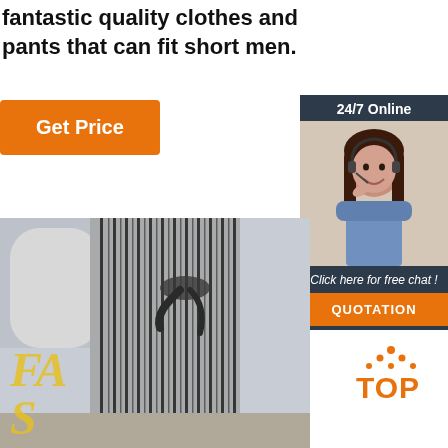fantastic quality clothes and pants that can fit short men.
[Figure (other): Orange 'Get Price' button]
[Figure (other): 24/7 Online chat widget with customer service representative photo, 'Click here for free chat!' text, and orange QUOTATION button]
[Figure (photo): Mannequin wearing striped wide-leg pants with a tie waist]
[Figure (logo): Orange TOP badge with dotted triangle icon]
FAS